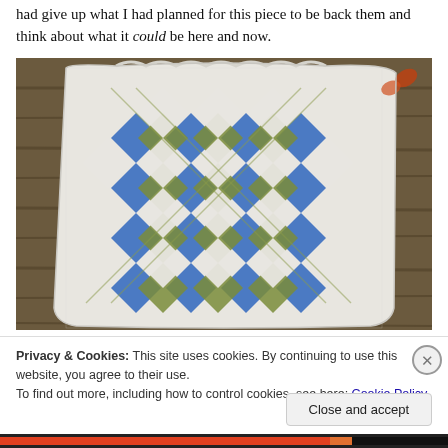had give up what I had planned for this piece to be back them and think about what it could be here and now.
[Figure (photo): A knitted/crocheted white vest or garment piece with an argyle diamond pattern in blue and olive/green colors, laid flat on a wooden surface. The garment shows interlocking diamond shapes in alternating blue and green-brown colors against a white background.]
Privacy & Cookies: This site uses cookies. By continuing to use this website, you agree to their use.
To find out more, including how to control cookies, see here: Cookie Policy